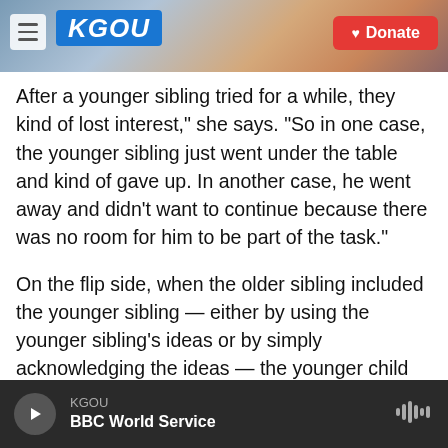[Figure (screenshot): KGOU radio website header with hamburger menu, KGOU logo in blue, city background photo, and red Donate button]
After a younger sibling tried for a while, they kind of lost interest," she says. "So in one case, the younger sibling just went under the table and kind of gave up. In another case, he went away and didn't want to continue because there was no room for him to be part of the task."
On the flip side, when the older sibling included the younger sibling — either by using the younger sibling's ideas or by simply acknowledging the ideas — the younger child became more engaged in the task. The siblings began to cooperate, paid attention to what each was trying to accomplish
KGOU  BBC World Service